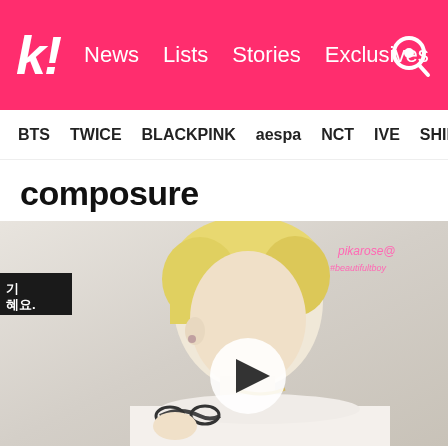K! News Lists Stories Exclusives
BTS TWICE BLACKPINK aespa NCT IVE SHIN
composure
[Figure (photo): A photo of a K-pop idol with bleached blonde hair wearing a white shirt, holding sunglasses, with a play button overlay in the center. Watermark text in pink in the upper right corner. A small Korean text label in the upper left.]